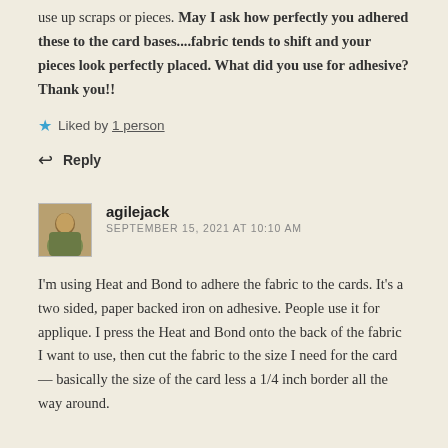use up scraps or pieces. May I ask how perfectly you adhered these to the card bases....fabric tends to shift and your pieces look perfectly placed. What did you use for adhesive? Thank you!!
★ Liked by 1 person
↩ Reply
agilejack
SEPTEMBER 15, 2021 AT 10:10 AM
I'm using Heat and Bond to adhere the fabric to the cards. It's a two sided, paper backed iron on adhesive. People use it for applique. I press the Heat and Bond onto the back of the fabric I want to use, then cut the fabric to the size I need for the card — basically the size of the card less a 1/4 inch border all the way around.